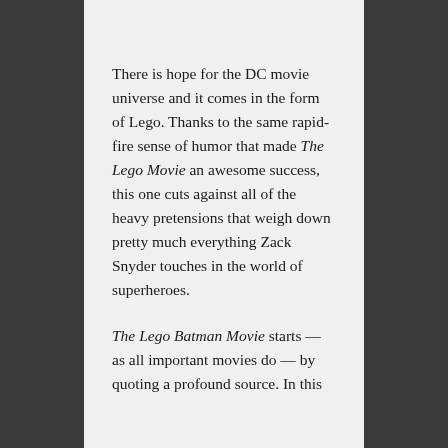There is hope for the DC movie universe and it comes in the form of Lego. Thanks to the same rapid-fire sense of humor that made The Lego Movie an awesome success, this one cuts against all of the heavy pretensions that weigh down pretty much everything Zack Snyder touches in the world of superheroes.
The Lego Batman Movie starts — as all important movies do — by quoting a profound source. In this